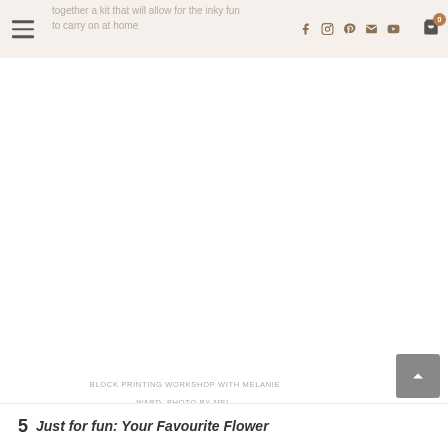together a kit that will allow for the inky fun to carry on at home
[Figure (photo): Large blank/white image area (photo content not visible) — block printing workshop photo by Mel]
BLOCK PRINTING WORKSHOP WITH MELANIE WARD, PHOTO BY MEL.
5   Just for fun: Your Favourite Flower